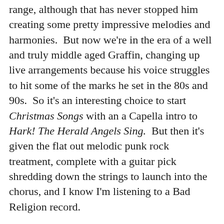range, although that has never stopped him creating some pretty impressive melodies and harmonies.  But now we're in the era of a well and truly middle aged Graffin, changing up live arrangements because his voice struggles to hit some of the marks he set in the 80s and 90s.  So it's an interesting choice to start Christmas Songs with an a Capella intro to Hark! The Herald Angels Sing.  But then it's given the flat out melodic punk rock treatment, complete with a guitar pick shredding down the strings to launch into the chorus, and I know I'm listening to a Bad Religion record.

Once you hear the Bad Religion spin on one of these songs, you pretty much know exactly how they'll all sound.  But O Come, O Come Emmanuelle and I'm Dreaming of a White Christmas sound like they've gone to the most